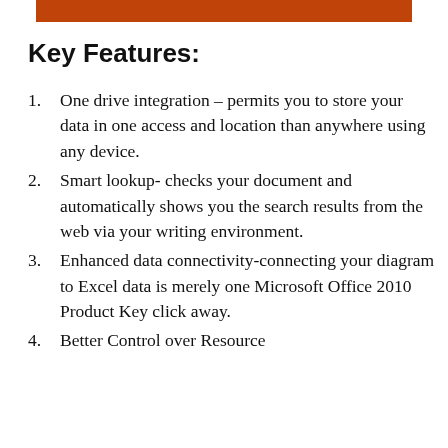Key Features:
One drive integration – permits you to store your data in one access and location than anywhere using any device.
Smart lookup- checks your document and automatically shows you the search results from the web via your writing environment.
Enhanced data connectivity-connecting your diagram to Excel data is merely one Microsoft Office 2010 Product Key click away.
Better Control over Resource